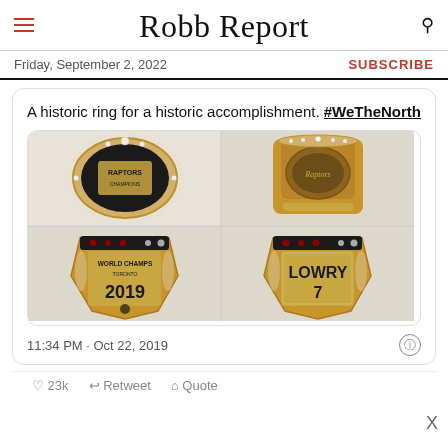Robb Report
Friday, September 2, 2022
SUBSCRIBE
A historic ring for a historic accomplishment. #WeTheNorth
[Figure (photo): Four views of the Toronto Raptors 2019 NBA Championship ring showing the top, interior, and two side panels with 'WORLD CHAMPIONS 2019' and 'LOWRY 7' inscriptions in gold and diamonds.]
11:34 PM · Oct 22, 2019
X